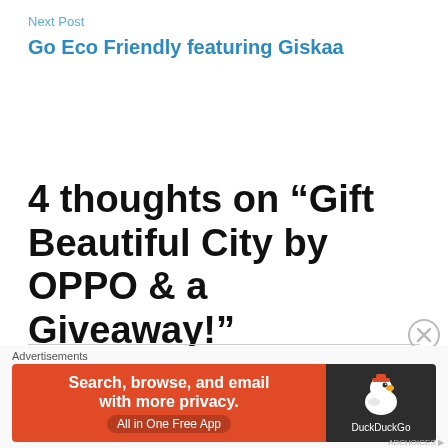Next Post
Go Eco Friendly featuring Giskaa
4 thoughts on “Gift Beautiful City by OPPO & a Giveaway!”
Ambika
October 3, 2016 at 10:25 pm
Would like to take it with Godson since he is tall
[Figure (infographic): DuckDuckGo advertisement banner: orange left panel with text 'Search, browse, and email with more privacy. All in One Free App', dark right panel with DuckDuckGo duck logo and brand name.]